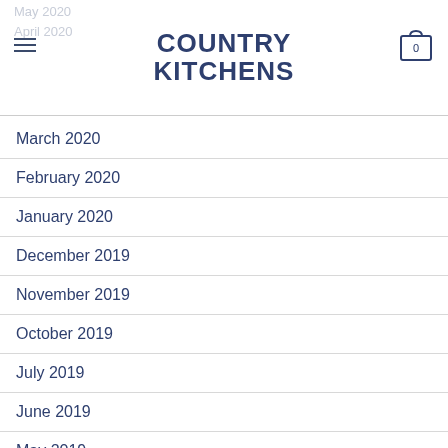COUNTRY KITCHENS
March 2020
February 2020
January 2020
December 2019
November 2019
October 2019
July 2019
June 2019
May 2019
April 2019